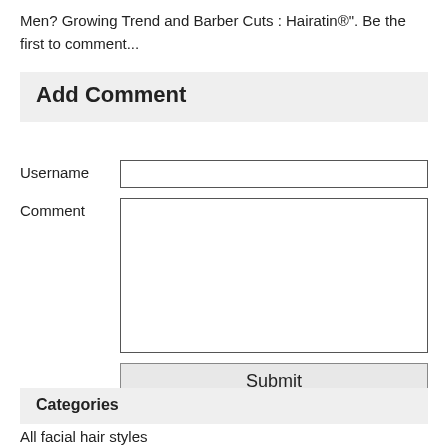Men? Growing Trend and Barber Cuts : Hairatin®". Be the first to comment...
Add Comment
Username [input field]
Comment [textarea]
Submit [button]
Categories
All facial hair styles